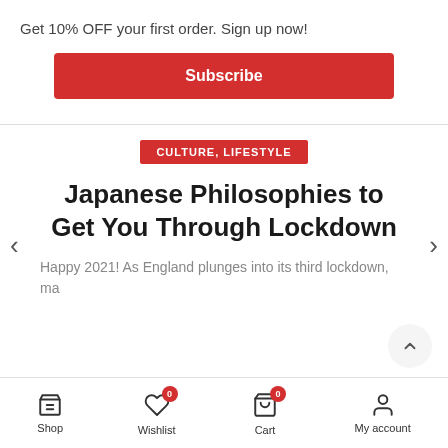Get 10% OFF your first order. Sign up now!
Subscribe
CULTURE, LIFESTYLE
Japanese Philosophies to Get You Through Lockdown
Happy 2021! As England plunges into its third lockdown, ma
Shop  Wishlist  Cart  My account